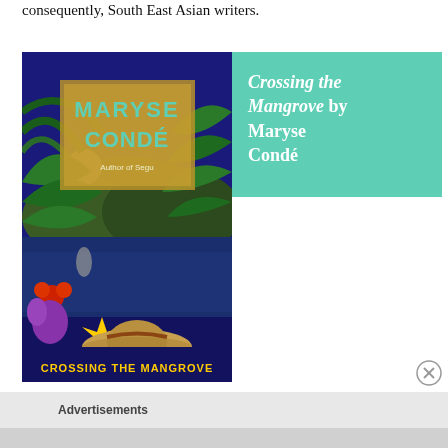consequently, South East Asian writers.
[Figure (photo): Book cover of 'Crossing the Mangrove' by Maryse Condé. The cover shows a tropical scene with lush green foliage, a full moon, a body of water, colorful flowers, and a straw hat floating on the water. The author's name 'Maryse Condé' appears in a golden/brown box at the top center, and 'Author of Segu' is printed below. The title 'Crossing the Mangrove' appears at the bottom in yellow text on a dark blue background.]
Crossing the Mangrove by Maryse Condé
Advertisements